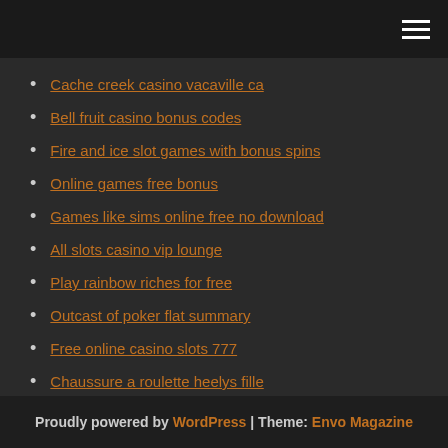Cache creek casino vacaville ca
Bell fruit casino bonus codes
Fire and ice slot games with bonus spins
Online games free bonus
Games like sims online free no download
All slots casino vip lounge
Play rainbow riches for free
Outcast of poker flat summary
Free online casino slots 777
Chaussure a roulette heelys fille
Best casino los angeles area
Proudly powered by WordPress | Theme: Envo Magazine